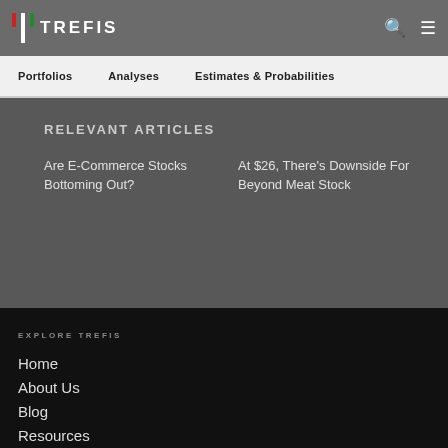TREFIS
Portfolios   Analyses   Estimates & Probabilities
RELEVANT ARTICLES
Are E-Commerce Stocks Bottoming Out?
At $26, There's Downside For Beyond Meat Stock
EXPLORE TREFIS
Home
About Us
Blog
Resources